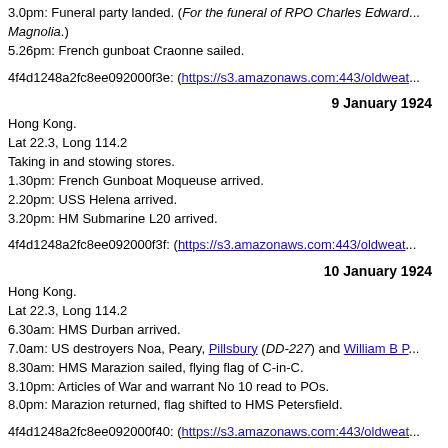3.0pm: Funeral party landed. (For the funeral of RPO Charles Edward... Magnolia.)
5.26pm: French gunboat Craonne sailed.
4f4d1248a2fc8ee092000f3e: (https://s3.amazonaws.com:443/oldweat...
9 January 1924
Hong Kong.
Lat 22.3, Long 114.2
Taking in and stowing stores.
1.30pm: French Gunboat Moqueuse arrived.
2.20pm: USS Helena arrived.
3.20pm: HM Submarine L20 arrived.
4f4d1248a2fc8ee092000f3f: (https://s3.amazonaws.com:443/oldweat...
10 January 1924
Hong Kong.
Lat 22.3, Long 114.2
6.30am: HMS Durban arrived.
7.0am: US destroyers Noa, Peary, Pillsbury (DD-227) and William B P...
8.30am: HMS Marazion sailed, flying flag of C-in-C.
3.10pm: Articles of War and warrant No 10 read to POs.
8.0pm: Marazion returned, flag shifted to HMS Petersfield.
4f4d1248a2fc8ee092000f40: (https://s3.amazonaws.com:443/oldweat...
11 January 1924
Hong Kong.
Lat 22.3, Long 114.2